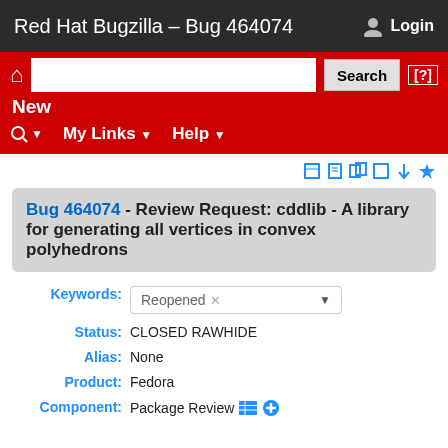Red Hat Bugzilla – Bug 464074  Login
[Figure (screenshot): Red navigation bar with home icon, search input, Search button, [?] help link, New menu item, and dropdowns for search, My Links, Help]
Bug 464074 - Review Request: cddlib - A library for generating all vertices in convex polyhedrons
Keywords: Reopened
Status: CLOSED RAWHIDE
Alias: None
Product: Fedora
Component: Package Review